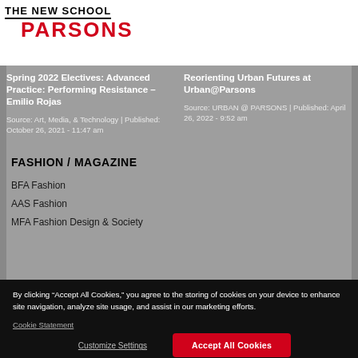THE NEW SCHOOL PARSONS
Spring 2022 Electives: Advanced Practice: Performing Resistance – Emilio Rojas
Source: Art, Media, & Technology | Published: October 26, 2021 - 11:47 am
Reorienting Urban Futures at Urban@Parsons
Source: URBAN @ PARSONS | Published: April 26, 2022 - 9:52 am
FASHION / MAGAZINE
BFA Fashion
AAS Fashion
MFA Fashion Design & Society
By clicking “Accept All Cookies,” you agree to the storing of cookies on your device to enhance site navigation, analyze site usage, and assist in our marketing efforts.
Cookie Statement
Customize Settings
Accept All Cookies